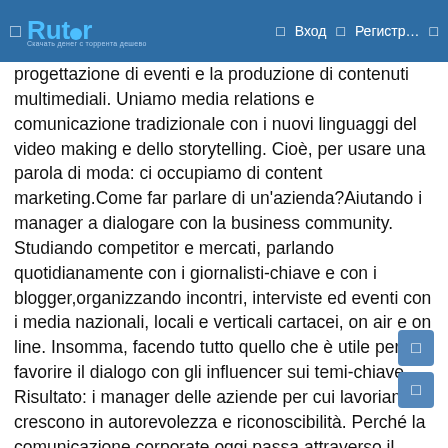Rutor | Вход | Регистр...
progettazione di eventi e la produzione di contenuti multimediali. Uniamo media relations e comunicazione tradizionale con i nuovi linguaggi del video making e dello storytelling. Cioè, per usare una parola di moda: ci occupiamo di content marketing.Come far parlare di un'azienda?Aiutando i manager a dialogare con la business community. Studiando competitor e mercati, parlando quotidianamente con i giornalisti-chiave e con i blogger,organizzando incontri, interviste ed eventi con i media nazionali, locali e verticali cartacei, on air e on line. Insomma, facendo tutto quello che è utile per favorire il dialogo con gli influencer sui temi-chiave. Risultato: i manager delle aziende per cui lavoriamo crescono in autorevolezza e riconoscibilità. Perché la comunicazione corporate oggi passa attraverso il personal branding del top management, il media training e le speaking opportunities. Ma anche attraverso contenuti di qualità, interessanti per i media e per le community dei clienti. E poi, sperando di doverlo fare il meno possibile, affianchiamo l'azienda nel crisis management.Be the next hero.I nostri